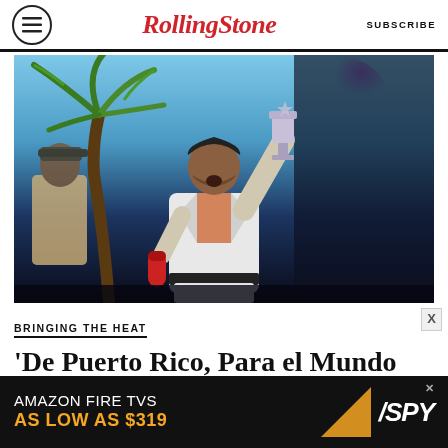Rolling Stone | SUBSCRIBE
[Figure (photo): Bad Bunny on stage holding a trophy aloft with one hand and singing into a microphone with the other, wearing a white suit, with a palm tree and dark blue stage lighting in the background. Another performer is visible to the left.]
BRINGING THE HEAT
'De Puerto Rico, Para el Mundo Entero:' Bad Bunny Named VMA
[Figure (infographic): Amazon Fire TVs advertisement banner: 'AMAZON FIRE TVS AS LOW AS $319' with SPY logo on dark background]